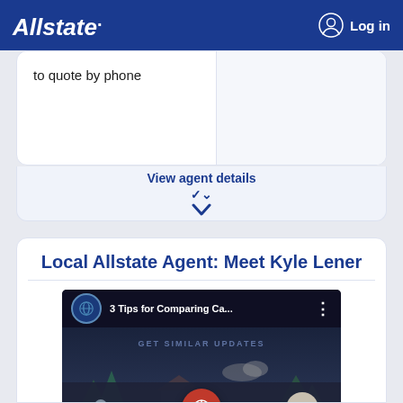Allstate. Log in
to quote by phone
View agent details
Local Allstate Agent: Meet Kyle Lener
[Figure (screenshot): YouTube video thumbnail showing '3 Tips for Comparing Ca...' with Allstate logo icon, dark background with cartoon scenery. Bottom navigation bar shows Agent, Quote, and Contact buttons with left/right carousel arrows.]